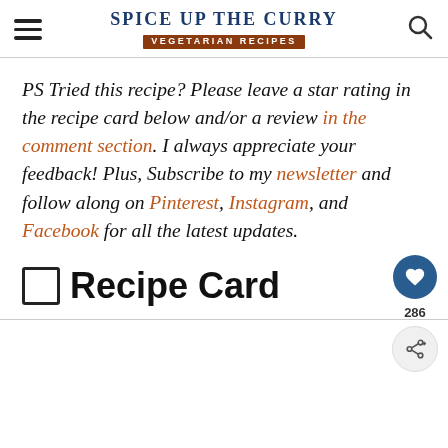Spice Up The Curry | Vegetarian Recipes
PS Tried this recipe? Please leave a star rating in the recipe card below and/or a review in the comment section. I always appreciate your feedback! Plus, Subscribe to my newsletter and follow along on Pinterest, Instagram, and Facebook for all the latest updates.
📋 Recipe Card